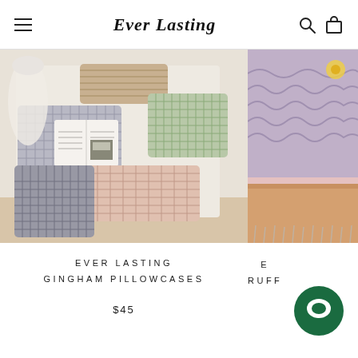Ever Lasting
[Figure (photo): Gingham pillowcases in grey, green, beige and pink arranged on a bed with an open book on top]
EVER LASTING
GINGHAM PILLOWCASES
$45
[Figure (photo): Partially visible image of purple ruffled bedding]
E
RUFF